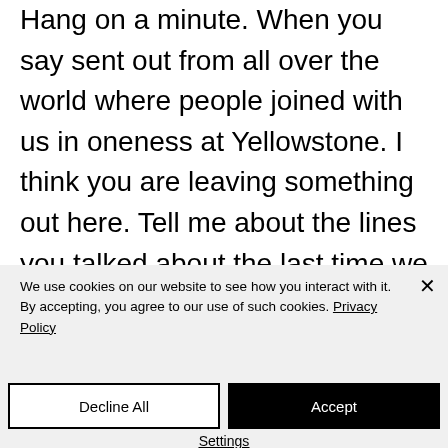Hang on a minute. When you say sent out from all over the world where people joined with us in oneness at Yellowstone. I think you are leaving something out here. Tell me about the lines you talked about the last time we talked. I think there is a correlation here in the way we were all connected. Does this have anything
We use cookies on our website to see how you interact with it. By accepting, you agree to our use of such cookies. Privacy Policy
Decline All
Accept
Settings